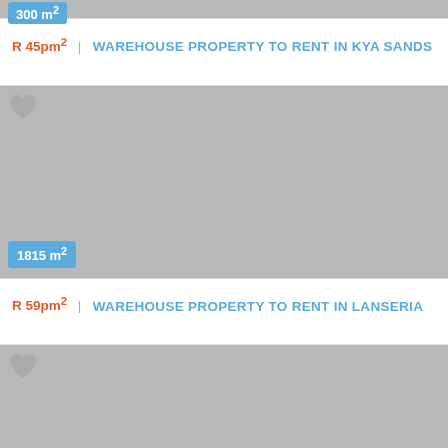[Figure (other): Top cropped image area showing 300 m² badge for warehouse property listing in Kya Sands]
R 45pm² | WAREHOUSE PROPERTY TO RENT IN KYA SANDS
[Figure (other): Grey placeholder image with heart icon and 1815 m² badge for warehouse property listing in Lanseria]
R 59pm² | WAREHOUSE PROPERTY TO RENT IN LANSERIA
[Figure (other): Grey placeholder image area with heart icon for next listing]